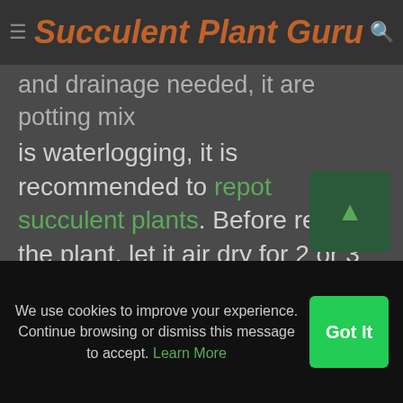Succulent Plant Guru
and drainage needed, it are potting mix is waterlogging, it is recommended to repot succulent plants. Before repot the plant, let it air dry for 2 or 3 days. In these times do not expose the plant to direct or partial sun. The potting mix keeps excessive moisture for a longer period; there is a high cha[nce] of Haworthia root rotting.
We use cookies to improve your experience. Continue browsing or dismiss this message to accept. Learn More
Got It